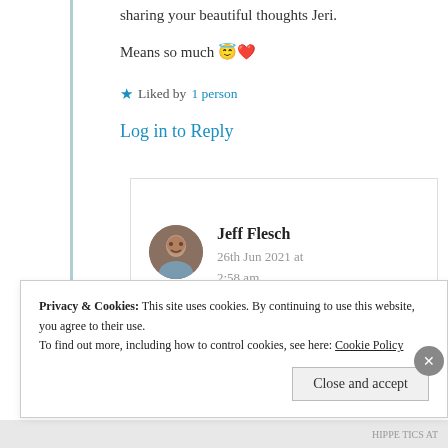sharing your beautiful thoughts Jeri.
Means so much 😇❤️
★ Liked by 1 person
Log in to Reply
Jeff Flesch
26th Jun 2021 at 2:58 am
Privacy & Cookies: This site uses cookies. By continuing to use this website, you agree to their use. To find out more, including how to control cookies, see here: Cookie Policy
Close and accept